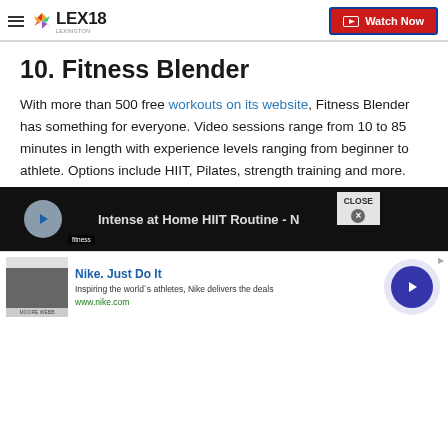LEX18 — Watch Now
10. Fitness Blender
With more than 500 free workouts on its website, Fitness Blender has something for everyone. Video sessions range from 10 to 85 minutes in length with experience levels ranging from beginner to athlete. Options include HIIT, Pilates, strength training and more.
[Figure (screenshot): Video thumbnail showing 'Intense at Home HIIT Routine - N...' with play button and fitness label, and a close button overlay]
[Figure (screenshot): Advertisement banner: Nike. Just Do It — Inspiring the world's athletes, Nike delivers the deals — www.nike.com — with product image and arrow button]